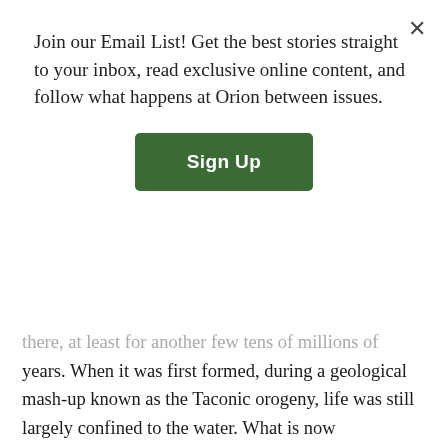Join our Email List! Get the best stories straight to your inbox, read exclusive online content, and follow what happens at Orion between issues.
Sign Up
there, at least for another few tens of millions of years. When it was first formed, during a geological mash-up known as the Taconic orogeny, life was still largely confined to the water. What is now Massachusetts was situated near the equator. Eons went by, as they are wont to do. Life crawled out of the sea. A major mass extinction 250 million years ago did in something like 75 percent of all terrestrial species; this opened up space for dinosaurs, who became the dominant creatures on land until they, too, were done in, 66 million years ago. (Dinosaur footprints can be found just east of Greylock, in the Pioneer Valley.) Meanwhile, the continents continued